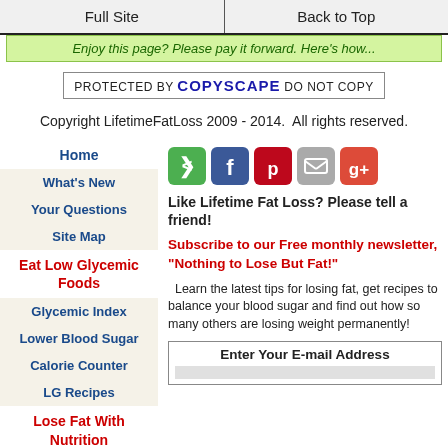Full Site | Back to Top
Enjoy this page? Please pay it forward. Here's how...
[Figure (logo): Copyscape protection badge: PROTECTED BY COPYSCAPE DO NOT COPY]
Copyright LifetimeFatLoss 2009 - 2014.  All rights reserved.
Home
What's New
Your Questions
Site Map
Eat Low Glycemic Foods
Glycemic Index
Lower Blood Sugar
Calorie Counter
LG Recipes
Lose Fat With Nutrition
[Figure (infographic): Social sharing icons: share (green), Facebook (blue), Pinterest (red), email (grey), Google+ (red)]
Like Lifetime Fat Loss? Please tell a friend!
Subscribe to our Free monthly newsletter, "Nothing to Lose But Fat!"
Learn the latest tips for losing fat, get recipes to balance your blood sugar and find out how so many others are losing weight permanently!
Enter Your E-mail Address